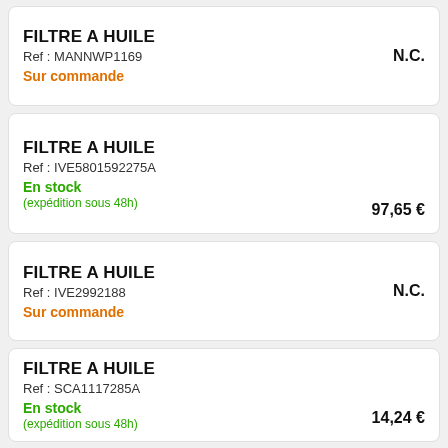FILTRE A HUILE
Ref : MANNWP1169
Sur commande
N.C.
FILTRE A HUILE
Ref : IVE5801592275A
En stock
(expédition sous 48h)
97,65 €
FILTRE A HUILE
Ref : IVE2992188
Sur commande
N.C.
FILTRE A HUILE
Ref : SCA1117285A
En stock
(expédition sous 48h)
14,24 €